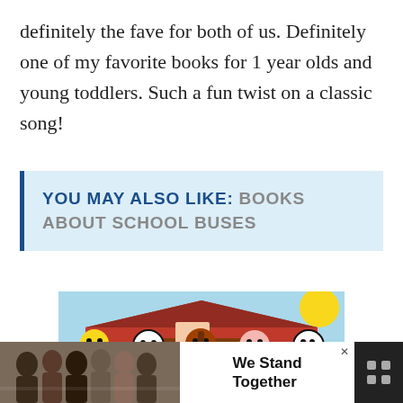definitely the fave for both of us. Definitely one of my favorite books for 1 year olds and young toddlers. Such a fun twist on a classic song!
YOU MAY ALSO LIKE: BOOKS ABOUT SCHOOL BUSES
[Figure (illustration): Cartoon farm animals (chick, cow, horse, pig, cow) in front of a red barn with blue sky and sunshine]
[Figure (photo): Advertisement banner: group of people standing together with text 'We Stand Together']